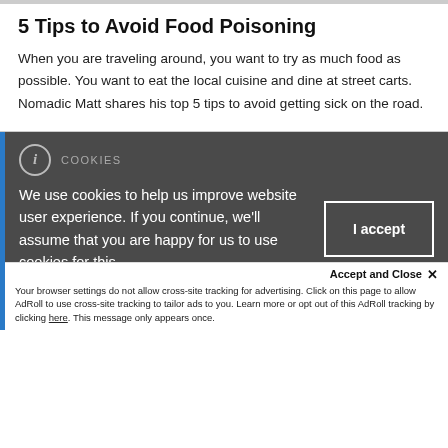5 Tips to Avoid Food Poisoning
When you are traveling around, you want to try as much food as possible. You want to eat the local cuisine and dine at street carts. Nomadic Matt shares his top 5 tips to avoid getting sick on the road.
[Figure (screenshot): Cookie consent banner with dark grey background and blue left border. Shows an info icon, 'COOKIES' label, cookie usage text, and an 'I accept' button.]
Accept and Close ×
Your browser settings do not allow cross-site tracking for advertising. Click on this page to allow AdRoll to use cross-site tracking to tailor ads to you. Learn more or opt out of this AdRoll tracking by clicking here. This message only appears once.